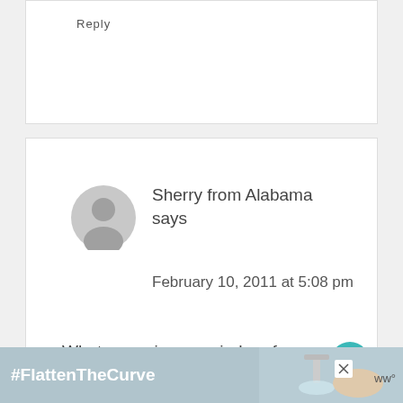Reply
Sherry from Alabama says
February 10, 2011 at 5:08 pm
What a precious reminder of her most life-changing decision. So sweet!
Sherry @ A Happy Valentine
#FlattenTheCurve